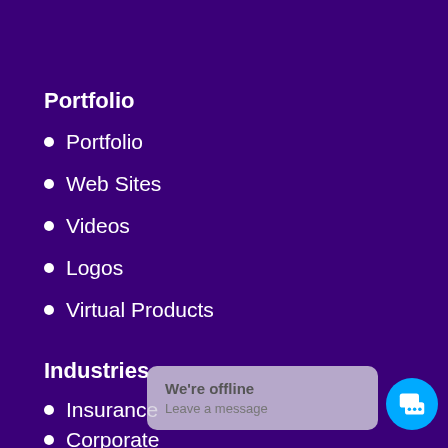Portfolio
Portfolio
Web Sites
Videos
Logos
Virtual Products
Industries
Insurance
Corporate
Associations